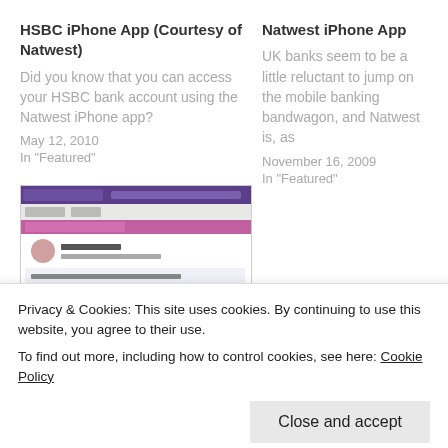HSBC iPhone App (Courtesy of Natwest)
Did you know that you can access your HSBC bank account using the Natwest iPhone app?
May 12, 2010
In "Featured"
Natwest iPhone App
UK banks seem to be a little reluctant to jump on the mobile banking bandwagon, and Natwest is, as
November 16, 2009
In "Featured"
[Figure (screenshot): Screenshot of a banking website interface with purple header and form elements]
Which Bank Has The
Privacy & Cookies: This site uses cookies. By continuing to use this website, you agree to their use.
To find out more, including how to control cookies, see here: Cookie Policy
Close and accept